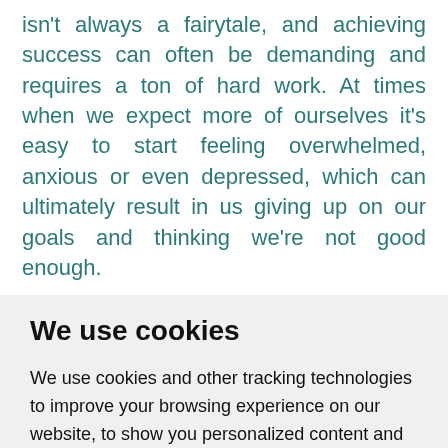isn't always a fairytale, and achieving success can often be demanding and requires a ton of hard work. At times when we expect more of ourselves it's easy to start feeling overwhelmed, anxious or even depressed, which can ultimately result in us giving up on our goals and thinking we're not good enough.
We use cookies
We use cookies and other tracking technologies to improve your browsing experience on our website, to show you personalized content and targeted ads, to analyze our website traffic, and to understand where our visitors are coming from.
I agree | Change my preferences